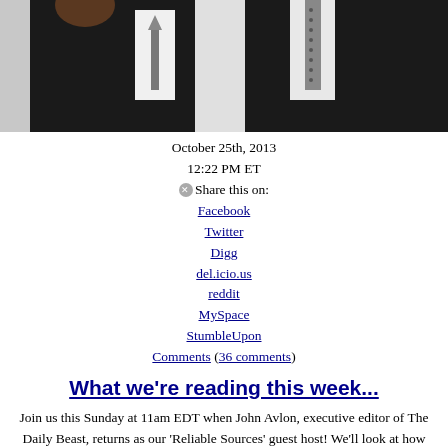[Figure (photo): Photo of a man in a dark suit and tie, arms raised, against a light background]
October 25th, 2013
12:22 PM ET
Share this on:
Facebook
Twitter
Digg
del.icio.us
reddit
MySpace
StumbleUpon
Comments (36 comments)
What we're reading this week...
Join us this Sunday at 11am EDT when John Avlon, executive editor of The Daily Beast, returns as our 'Reliable Sources' guest host! We'll look at how the press covered the technological malfunctions accompanying the Obamacare website rollout recently, but in the meantime, here are some other stories that caught our eye this week: